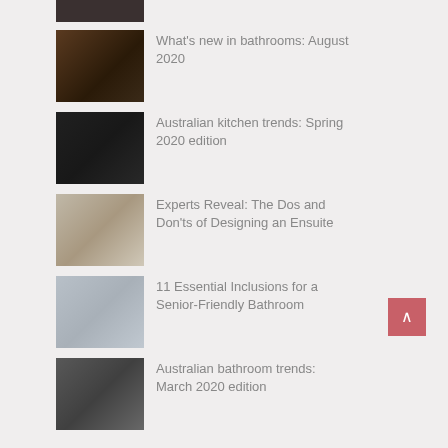[Figure (photo): Partial thumbnail of bathroom/plumbing product at top of page]
[Figure (photo): Bathroom sink mounted on wall, warm toned]
What's new in bathrooms: August 2020
[Figure (photo): Black farmhouse kitchen sink]
Australian kitchen trends: Spring 2020 edition
[Figure (photo): Ensuite bathroom vanity with drawer open]
Experts Reveal: The Dos and Don'ts of Designing an Ensuite
[Figure (photo): Walk-in shower with glass panel and plant]
11 Essential Inclusions for a Senior-Friendly Bathroom
[Figure (photo): Modern widespread bathroom faucet on grey surface]
Australian bathroom trends: March 2020 edition